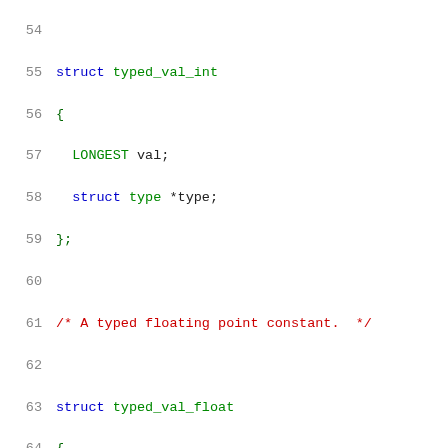Code listing lines 54-75: C struct definitions for typed_val_int, typed_val_float, and set_field, with comments.